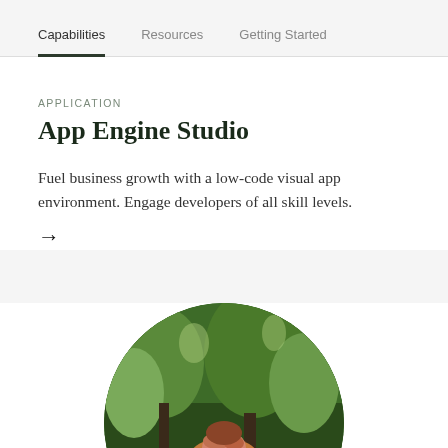Capabilities  Resources  Getting Started
APPLICATION
App Engine Studio
Fuel business growth with a low-code visual app environment. Engage developers of all skill levels.
→
[Figure (photo): Circular cropped photograph of a person outdoors in a forested environment with green trees in the background, bottom half of circle visible at page bottom.]